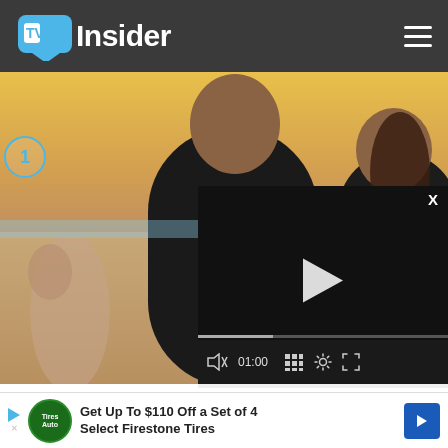TV Insider
[Figure (photo): Two people standing on a beach at sunset — a man in a black t-shirt and a woman in a dark blouse holding a yellow drink. Background shows other people and warm sunset lighting.]
[Figure (screenshot): Embedded video player overlay with play button, progress bar showing 01:00, and controls including volume, grid, settings, and fullscreen icons. X close button top right.]
'NCIS: Hawai'i' … Crossover, Kac…
Recipe for Mur… the Edge, CW Fa…
FAREWELL … YESTERDAY, 7:00 AM
Get Up To $110 Off a Set of 4 Select Firestone Tires